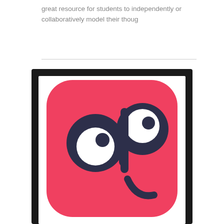great resource for students to independently or collaboratively model their thoug
[Figure (logo): App icon with red rounded square background and stylized 'ap' letters with eye-like circles, plus a smile curve below, on a dark-framed phone/tablet screen mockup]